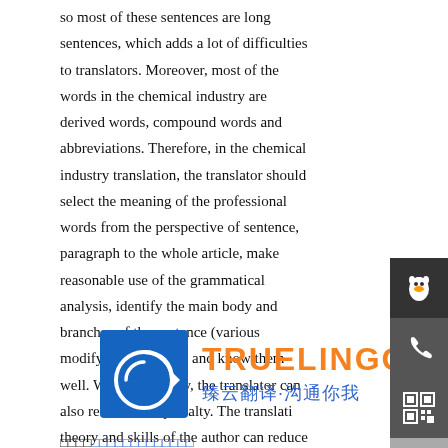so most of these sentences are long sentences, which adds a lot of difficulties to translators. Moreover, most of the words in the chemical industry are derived words, compound words and abbreviations. Therefore, in the chemical industry translation, the translator should select the meaning of the professional words from the perspective of sentence, paragraph to the whole article, make reasonable use of the grammatical analysis, identify the main body and branches of the sentence (various modifying elements), and know them well. When necessary, the translator can also refer to the specialty. The translation theory and skills of the author can reduce detours and improve efficiency.
[Figure (logo): TRUELINGO logo with blue square icon containing white circular arrow, orange TRUELINGO text with registered trademark, and blue Chinese text 臻云翻译·沟通你我]
□□□□□□□□□□□□□□□□□□
□□□□□□□□□□□□□□□□